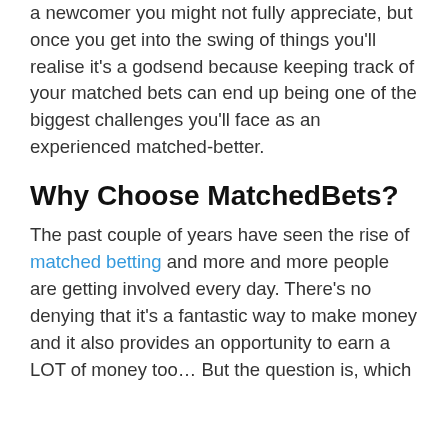a newcomer you might not fully appreciate, but once you get into the swing of things you'll realise it's a godsend because keeping track of your matched bets can end up being one of the biggest challenges you'll face as an experienced matched-better.
Why Choose MatchedBets?
The past couple of years have seen the rise of matched betting and more and more people are getting involved every day. There's no denying that it's a fantastic way to make money and it also provides an opportunity to earn a LOT of money too… But the question is, which